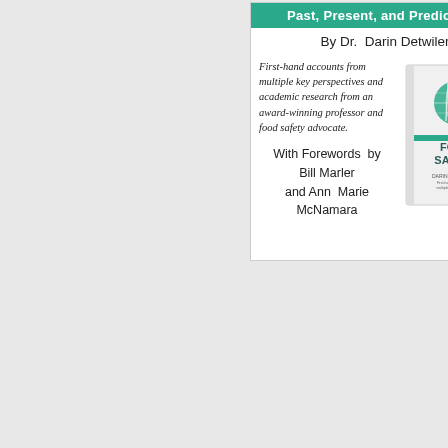Past, Present, and Predictions
By Dr. Darin Detwiler
First-hand accounts from multiple key perspectives and academic research from an award-winning professor and food safety advocate.
With Forewords by Bill Marler and Ann Marie McNamara
[Figure (illustration): Cover of the book 'Food Safety' by Darin Detwiler, published by Elsevier/Academic Press. White cover with teal accents, showing a globe and utensils.]